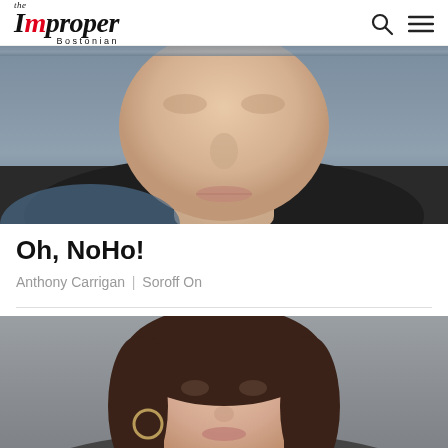the Improper Bostonian
[Figure (photo): Close-up portrait photo of a man's face (Anthony Carrigan), showing from forehead to chin, pale complexion, against a dark background]
Oh, NoHo!
Anthony Carrigan | Soroff On
[Figure (photo): Portrait photo of a woman with long dark hair, hoop earrings, smiling, against a grey background]